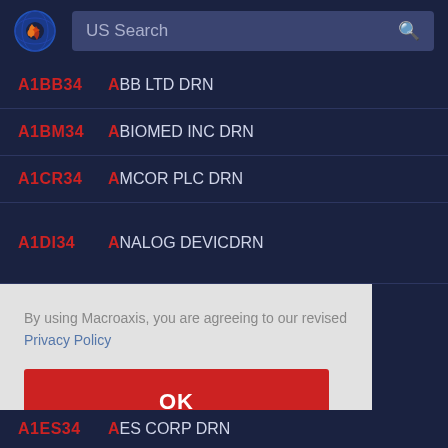US Search
A1BB34  ABB LTD DRN
A1BM34  ABIOMED INC DRN
A1CR34  AMCOR PLC DRN
A1DI34  ANALOG DEVICDRN
By using Macroaxis, you are agreeing to our revised Privacy Policy
OK
A1ES34  AES CORP DRN